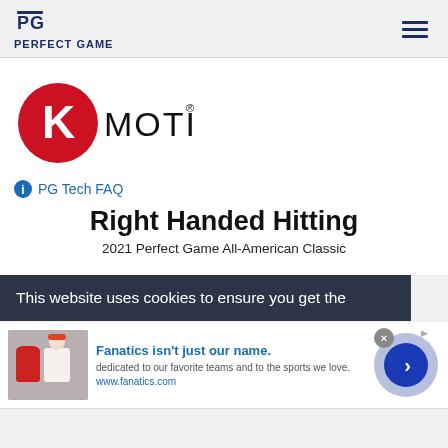PERFECT GAME
[Figure (logo): K-Motion logo: red circle with white K on left, MOTION text in black on right with registered trademark symbol]
PG Tech FAQ
Right Handed Hitting
2021 Perfect Game All-American Classic
This website uses cookies to ensure you get the
Fanatics isn't just our name. dedicated to our favorite teams and to the sports we love. www.fanatics.com